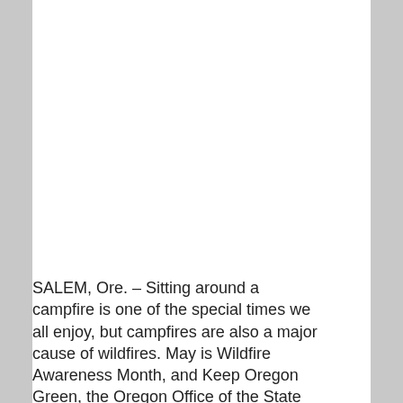SALEM, Ore. – Sitting around a campfire is one of the special times we all enjoy, but campfires are also a major cause of wildfires. May is Wildfire Awareness Month, and Keep Oregon Green, the Oregon Office of the State Fire Marshal, and the Oregon Department of